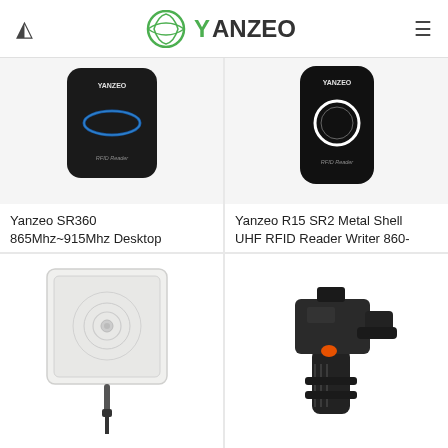YANZEO
[Figure (photo): Yanzeo SR360 black desktop RFID reader with blue LED ring and RFID Reader label]
Yanzeo SR360 865Mhz~915Mhz Desktop
[Figure (photo): Yanzeo R15 SR2 Metal Shell UHF RFID reader writer black device with RFID Reader label]
Yanzeo R15 SR2 Metal Shell UHF RFID Reader Writer 860-
[Figure (photo): White square RFID antenna panel with circular pattern and cable]
[Figure (photo): Black handheld RFID gun scanner with orange trigger button]